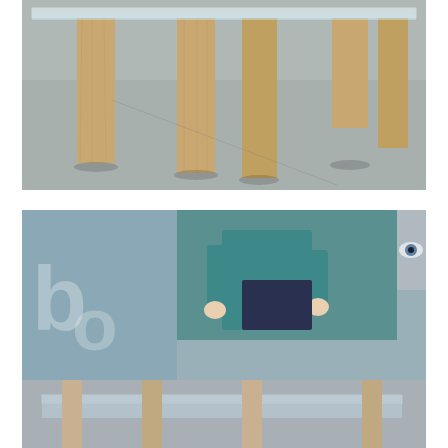[Figure (photo): Photo of a transparent/acrylic table or shelf structure supported by multiple vertical wooden posts, shot from front-angle on a gray floor.]
[Figure (photo): Photo of a person in teal/green clothing working with a dark screen/tablet, with a close-up of an eye visible in upper right. Lower portion shows an acrylic/glass table structure with wooden supports. A cookie consent dialog overlays the image reading 'This Site Uses → Cookies' with an OK button.]
This Site Uses → Cookies
OK